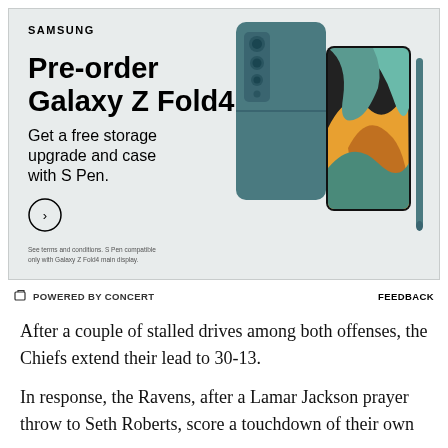[Figure (illustration): Samsung advertisement for Galaxy Z Fold4. White text on light gray background. Shows Samsung logo, pre-order headline, promotional text about free storage upgrade and case with S Pen, a circular arrow button, fine print, and a product image of the Galaxy Z Fold4 phone in teal color with S Pen.]
POWERED BY CONCERT   FEEDBACK
After a couple of stalled drives among both offenses, the Chiefs extend their lead to 30-13.
In response, the Ravens, after a Lamar Jackson prayer throw to Seth Roberts, score a touchdown of their own